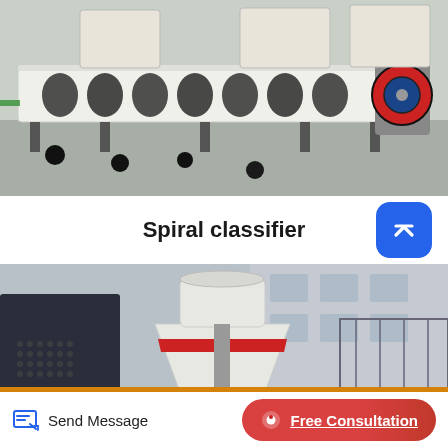[Figure (photo): Industrial spiral classifier machine in a factory setting. Long white trough-shaped equipment with spiral mechanisms visible, mounted on a metal frame. Red and blue motor visible on the right side. Industrial building interior background.]
Spiral classifier
[Figure (photo): Large white industrial crusher or cone crusher machine with a red horizontal band around its midsection, mounted on a cylindrical column. Taken outdoors at an industrial facility with a grey building in the background and metal railings/fences.]
Send Message
Free Consultation